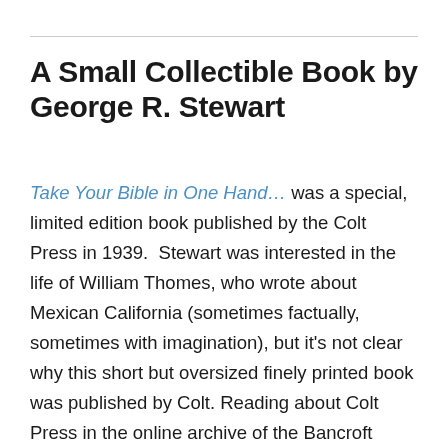A Small Collectible Book by George R. Stewart
Take Your Bible in One Hand… was a special, limited edition book published by the Colt Press in 1939. Stewart was interested in the life of William Thomes, who wrote about Mexican California (sometimes factually, sometimes with imagination), but it's not clear why this short but oversized finely printed book was published by Colt. Reading about Colt Press in the online archive of the Bancroft Library's Regional Oral History Office's oral history of Jane Grabhorn, conducted by Ruth Teiser, however, it's easy to see that Stewart knew several of the people who were involved with the Press. William Wheat,